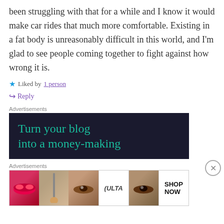been struggling with that for a while and I know it would make car rides that much more comfortable. Existing in a fat body is unreasonably difficult in this world, and I'm glad to see people coming together to fight against how wrong it is.
★ Liked by 1 person
↪ Reply
Advertisements
[Figure (screenshot): Dark advertisement banner with teal text reading 'Turn your blog into a money-making']
Advertisements
[Figure (screenshot): Ulta beauty advertisement strip with makeup images and 'SHOP NOW' button]